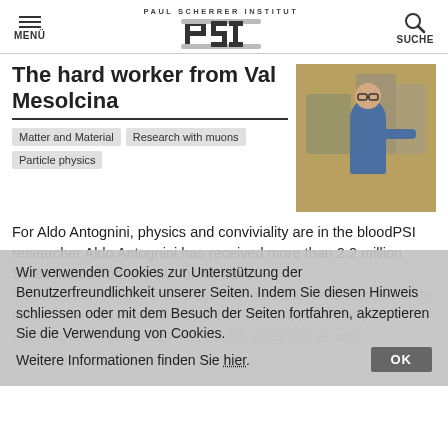MENÜ | PAUL SCHERRER INSTITUT PSI | SUCHE
The hard worker from Val Mesolcina
Matter and Material
Research with muons
Particle physics
[Figure (photo): Man in blue sweater standing in a laboratory environment with large equipment]
For Aldo Antognini, physics and conviviality are in the bloodPSI researcher Aldo Antognini has received more than 2.2 million Swiss francs from the EU for his latest experiment. He wants to find out how magnetism is distributed in the proton. The particle physicist will be able to apply not only his scientific and technical talents, but his social flair as well.
Wir verwenden Cookies zur Unterstützung der Benutzerfreundlichkeit unserer Seiten. Indem Sie diesen Hinweis schliessen oder mit dem Besuch der Seiten fortfahren, akzeptieren Sie die Verwendung von Cookies.
Weitere Informationen finden Sie hier.
OK
14. November 2016
The deuteron too poses a mystery
[Figure (photo): Laboratory photo thumbnail]